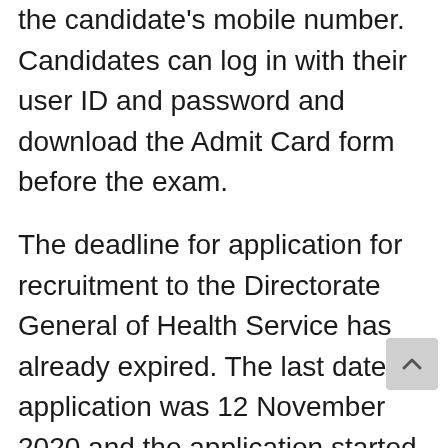the candidate's mobile number. Candidates can log in with their user ID and password and download the Admit Card form before the exam.
The deadline for application for recruitment to the Directorate General of Health Service has already expired. The last date of application was 12 November 2020 and the application started on 12 October 2020.
The Directorate General of Health Service published the recruitment circular on 06-Oct-20. The total